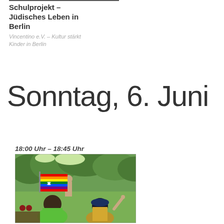Schulprojekt – Jüdisches Leben in Berlin
Vincentino e.V. – Kultur stärkt Kinder in Berlin
Sonntag, 6. Juni
18:00 Uhr – 18:45 Uhr
[Figure (photo): Outdoor scene in a park: a person holding a rainbow flag with a Star of David, two children in the foreground with one raising their hand, green trees in background.]